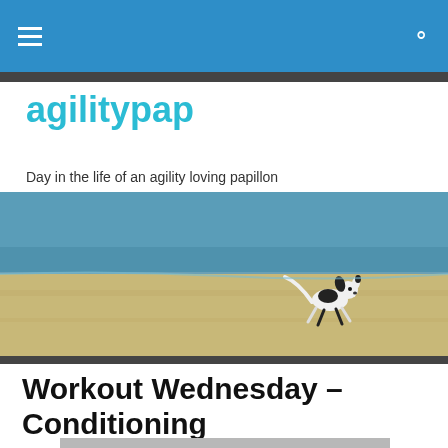agilitypap navigation bar
agilitypap
Day in the life of an agility loving papillon
[Figure (photo): A small black and white papillon dog running along a beach shoreline with water and sand visible]
Workout Wednesday – Conditioning
[Figure (photo): Partial view of an indoor agility or gym facility, cropped at bottom of page]